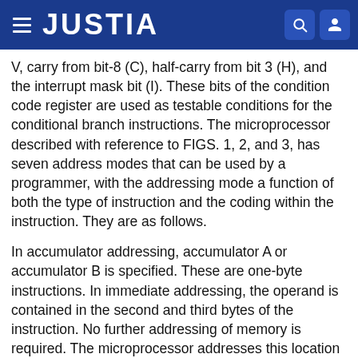JUSTIA
V, carry from bit-8 (C), half-carry from bit 3 (H), and the interrupt mask bit (I). These bits of the condition code register are used as testable conditions for the conditional branch instructions. The microprocessor described with reference to FIGS. 1, 2, and 3, has seven address modes that can be used by a programmer, with the addressing mode a function of both the type of instruction and the coding within the instruction. They are as follows.
In accumulator addressing, accumulator A or accumulator B is specified. These are one-byte instructions. In immediate addressing, the operand is contained in the second and third bytes of the instruction. No further addressing of memory is required. The microprocessor addresses this location when it fetches the immediate instruction for execution.